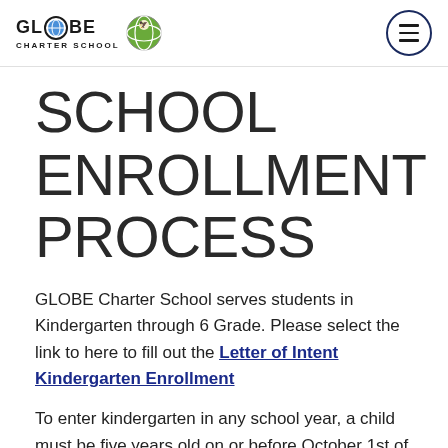GLOBE Charter School
SCHOOL ENROLLMENT PROCESS
GLOBE Charter School serves students in Kindergarten through 6 Grade. Please select the link to here to fill out the Letter of Intent Kindergarten Enrollment
To enter kindergarten in any school year, a child must be five years old on or before October 1st of that year. Proof